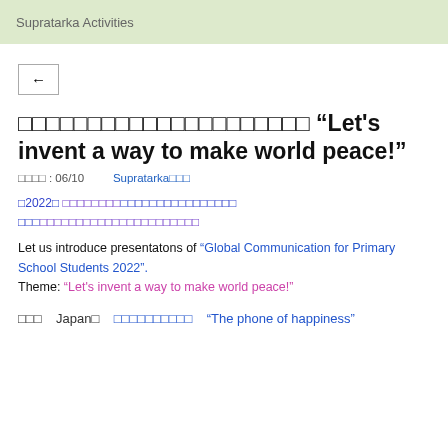Supratarka Activities
[Figure (other): Back navigation button with left arrow]
□□□□□□□□□□□□□□□□□□□□□ “Let's invent a way to make world peace!”
□□□□ : 06/10    Supratarka□□□
□2022□ □□□□□□□□□□□□□□□□□□□□□□□□□□□□□□□□□□□□□□□□□□□□□□
Let us introduce presentatons of "Global Communication for Primary School Students 2022". Theme: "Let's invent a way to make world peace!"
□□□   Japan□   □□□□□□□□□□   "The phone of happiness"